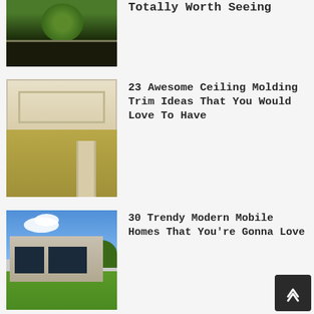[Figure (photo): Partial view of landscaped garden with dark mulch and green shrub]
Totally Worth Seeing
[Figure (photo): White ceiling molding trim in a room with golden/olive colored walls]
23 Awesome Ceiling Molding Trim Ideas That You Would Love To Have
[Figure (photo): Modern mobile home exterior with stone cladding, large windows, and green lawn under blue sky]
30 Trendy Modern Mobile Homes That You're Gonna Love